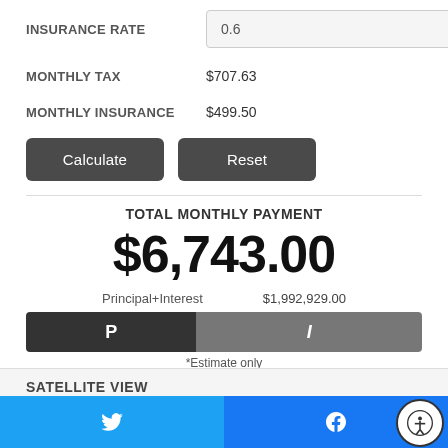INSURANCE RATE: 0.6
MONTHLY TAX: $707.63
MONTHLY INSURANCE: $499.50
Calculate | Reset (buttons)
TOTAL MONTHLY PAYMENT
$6,743.00
Principal+Interest  $1,992,929.00
[Figure (bar-chart): P vs I bar]
*Estimate only
SATELLITE VIEW